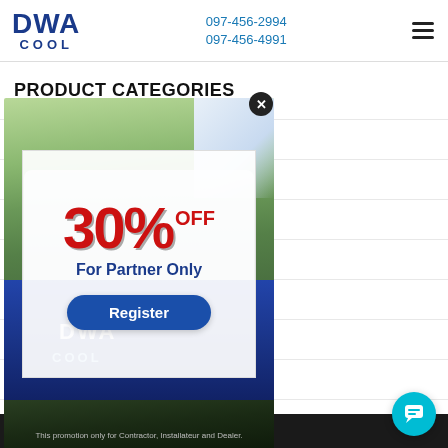DWA COOL | 097-456-2994 | 097-456-4991
PRODUCT CATEGORIES
[Figure (infographic): Promotional popup overlay showing '30% OFF For Partner Only' with a Register button, displayed over a photo of a DWA COOL worker. Background shows outdoor scene with trees. Close button (X) at top right of popup.]